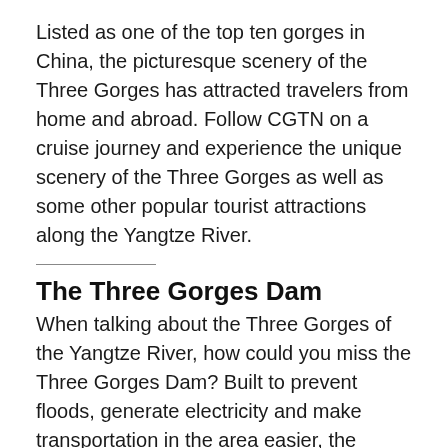Listed as one of the top ten gorges in China, the picturesque scenery of the Three Gorges has attracted travelers from home and abroad. Follow CGTN on a cruise journey and experience the unique scenery of the Three Gorges as well as some other popular tourist attractions along the Yangtze River.
The Three Gorges Dam
When talking about the Three Gorges of the Yangtze River, how could you miss the Three Gorges Dam? Built to prevent floods, generate electricity and make transportation in the area easier, the Three Gorges Dam is a hydroelectric gravity dam and also one of China's modern construction marvels. The